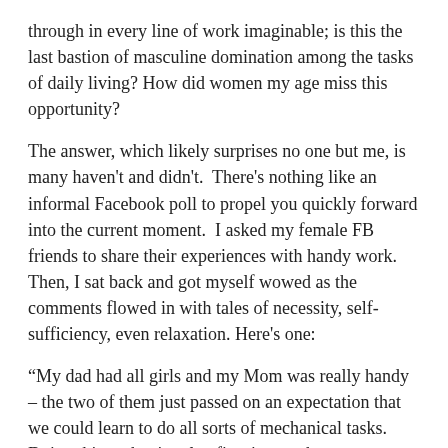through in every line of work imaginable; is this the last bastion of masculine domination among the tasks of daily living? How did women my age miss this opportunity?
The answer, which likely surprises no one but me, is many haven't and didn't.  There's nothing like an informal Facebook poll to propel you quickly forward into the current moment.  I asked my female FB friends to share their experiences with handy work.  Then, I sat back and got myself wowed as the comments flowed in with tales of necessity, self-sufficiency, even relaxation. Here's one:
“My dad had all girls and my Mom was really handy – the two of them just passed on an expectation that we could learn to do all sorts of mechanical tasks. Doing things that involve figuring out how to accomplish a more physical task after working most of my life in roles that required intense concentration has been a relief...My favorite outdoor tool is a chain saw; indoor? Magnetized screwdrivers.”